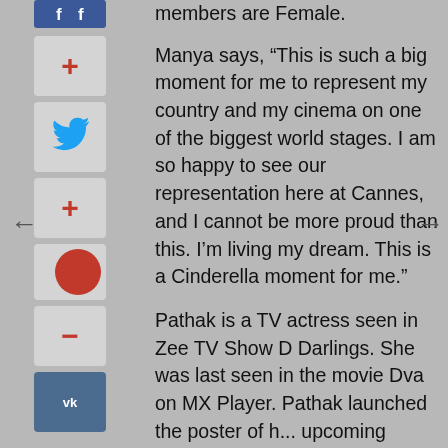members are Female.
Manya says, “This is such a big moment for me to represent my country and my cinema on one of the biggest world stages. I am so happy to see our representation here at Cannes, and I cannot be more proud than this. I’m living my dream. This is a Cinderella moment for me.”
Pathak is a TV actress seen in Zee TV Show D Darlings. She was last seen in the movie Dva on MX Player. Pathak launched the poster of h... upcoming movie Pratyantar at the Cannes Global Short Film Awards Gala and Luxury Fashion Show at JW Marriott Cannes in front of International Media and many Hollywood Celebrities. The film revolves around the concept of “is your Soul free?” It depicts life’s challenges after death and the agony and pain the soul